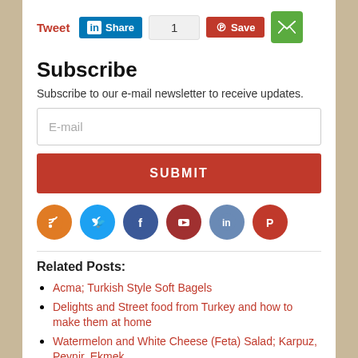[Figure (screenshot): Social sharing buttons row: Tweet link in red, LinkedIn Share button in blue, counter box showing 1, Pinterest Save button in red, green email/envelope button]
Subscribe
Subscribe to our e-mail newsletter to receive updates.
[Figure (screenshot): E-mail input field with placeholder text 'E-mail']
[Figure (screenshot): SUBMIT button in red]
[Figure (screenshot): Row of social media icons: RSS (orange), Twitter (blue), Facebook (dark blue), YouTube (dark red), LinkedIn (blue-gray), Pinterest (red)]
Related Posts:
Acma; Turkish Style Soft Bagels
Delights and Street food from Turkey and how to make them at home
Watermelon and White Cheese (Feta) Salad; Karpuz, Peynir, Ekmek